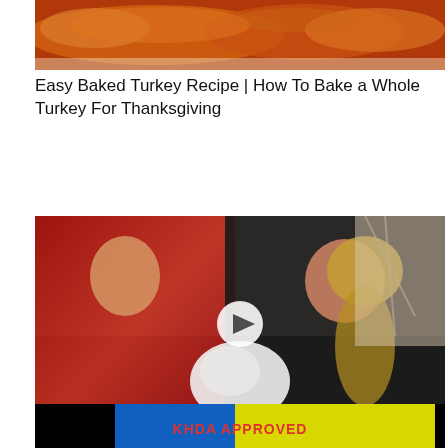[Figure (photo): Close-up photo of baked turkey in a roasting pan with sauce, cropped at top]
Easy Baked Turkey Recipe | How To Bake a Whole Turkey For Thanksgiving
[Figure (photo): Two people, a man in a red plaid shirt and a woman in black, holding a white fluffy item; play button overlay in center]
this is hard.
[Figure (screenshot): Bottom portion of a video thumbnail with dark background, blue and yellow sections, and red text reading 'KHDA APPROVED']